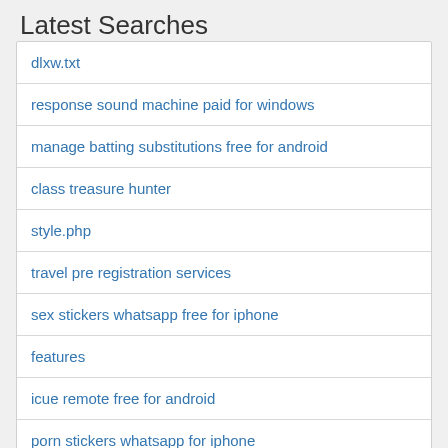Latest Searches
dlxw.txt
response sound machine paid for windows
manage batting substitutions free for android
class treasure hunter
style.php
travel pre registration services
sex stickers whatsapp free for iphone
features
icue remote free for android
porn stickers whatsapp for iphone
freie navigation for windows